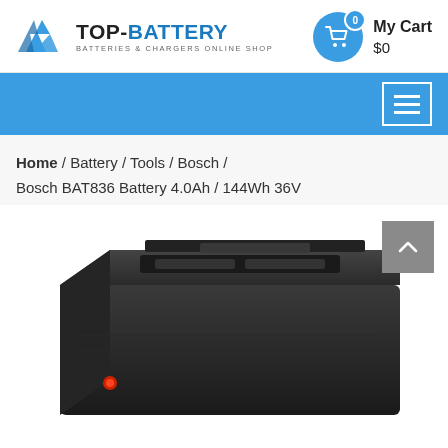[Figure (logo): TOP-BATTERY logo with blue angular graphic icon and text 'BATTERIES & CHARGERS ONLINE SHOP']
[Figure (infographic): Shopping cart icon in blue circle with badge showing '0', labeled 'My Cart $0']
[Figure (infographic): Blue navigation bar with hamburger menu icon on the right]
Home / Battery / Tools / Bosch / Bosch BAT836 Battery 4.0Ah / 144Wh 36V
[Figure (photo): Bosch BAT836 battery pack viewed from above at an angle, black color, showing top surface with connectors. Scroll-to-top button visible in bottom right.]